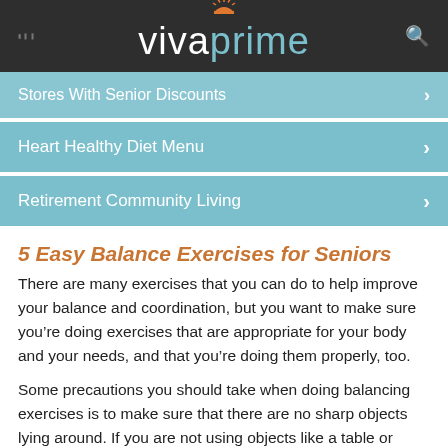[Figure (logo): Vivaprime website logo with sun icon on dark background navigation bar]
Stores With Senior Discounts
Heart Healthy Diet Menu
Retirement Community Living
5 Easy Balance Exercises for Seniors
There are many exercises that you can do to help improve your balance and coordination, but you want to make sure you’re doing exercises that are appropriate for your body and your needs, and that you’re doing them properly, too.
Some precautions you should take when doing balancing exercises is to make sure that there are no sharp objects lying around. If you are not using objects like a table or chair